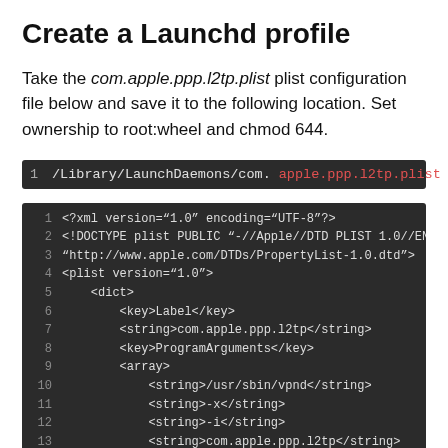Create a Launchd profile
Take the com.apple.ppp.l2tp.plist plist configuration file below and save it to the following location. Set ownership to root:wheel and chmod 644.
1  /Library/LaunchDaemons/com.apple.ppp.l2tp.plist
1  <?xml version="1.0" encoding="UTF-8"?>
2  <!DOCTYPE plist PUBLIC "-//Apple//DTD PLIST 1.0//EN"
3  "http://www.apple.com/DTDs/PropertyList-1.0.dtd">
4  <plist version="1.0">
5      <dict>
6          <key>Label</key>
7          <string>com.apple.ppp.l2tp</string>
8          <key>ProgramArguments</key>
9          <array>
10             <string>/usr/sbin/vpnd</string>
11             <string>-x</string>
12             <string>-i</string>
13             <string>com.apple.ppp.l2tp</string>
14         </array>
15         <key>OnDemand</key>
16         <false/>
17         </dict>